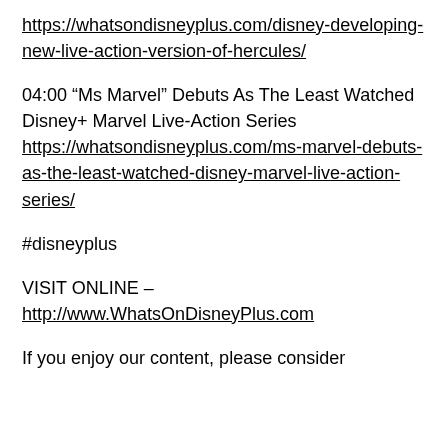https://whatsondisneyplus.com/disney-developing-new-live-action-version-of-hercules/
04:00 “Ms Marvel” Debuts As The Least Watched Disney+ Marvel Live-Action Series https://whatsondisneyplus.com/ms-marvel-debuts-as-the-least-watched-disney-marvel-live-action-series/
#disneyplus
VISIT ONLINE –
http://www.WhatsOnDisneyPlus.com
If you enjoy our content, please consider